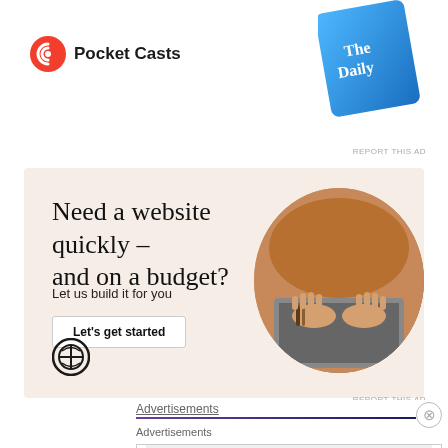[Figure (screenshot): Pocket Casts app logo with red swirl icon and 'Pocket Casts' text, alongside 'The Daily' podcast card in blue gradient at top right]
REPORT THIS AD
[Figure (screenshot): WordPress advertisement on beige/cream background: 'Need a website quickly – and on a budget?' with 'Let us build it for you' subtitle, 'Let's get started' button, WordPress logo, and circular photo of hands on laptop]
REPORT THIS AD
Advertisements
Advertisements
[Figure (screenshot): MAC Cosmetics advertisement showing lipsticks in purple, pink, and red shades with MAC logo and 'SHOP NOW' button]